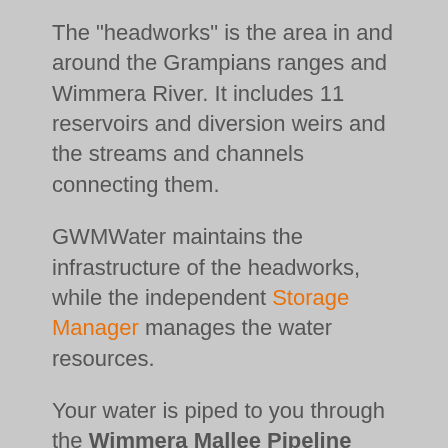The "headworks" is the area in and around the Grampians ranges and Wimmera River. It includes 11 reservoirs and diversion weirs and the streams and channels connecting them.
GWMWater maintains the infrastructure of the headworks, while the independent Storage Manager manages the water resources.
Your water is piped to you through the Wimmera Mallee Pipeline (Supply System 2). The Wimmera Mallee Pipeline replaced 17,500 km of inefficient channels to ensure a more